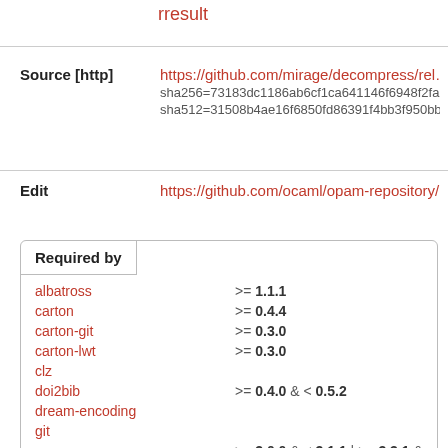rresult
| Source [http] | https://github.com/mirage/decompress/rel...
sha256=73183dc1186ab6cf1ca641146f6948f2fae...
sha512=31508b4ae16f6850fd86391f4bb3f950bb... |
| Edit | https://github.com/ocaml/opam-repository/... |
| Required by |  |
| --- | --- |
| albatross | >= 1.1.1 |
| carton | >= 0.4.4 |
| carton-git | >= 0.3.0 |
| carton-lwt | >= 0.3.0 |
| clz |  |
| doi2bib | >= 0.4.0 & < 0.5.2 |
| dream-encoding |  |
| git |  |
|  | >= 3.0.0 & < 3.1.1 | >= 3.3.1 & < 3.4.0 | >= 3.9.1 |
| git-unix | = 3.1.0 | >= 3.3.1 |
| imagelib | >= 20210402 |